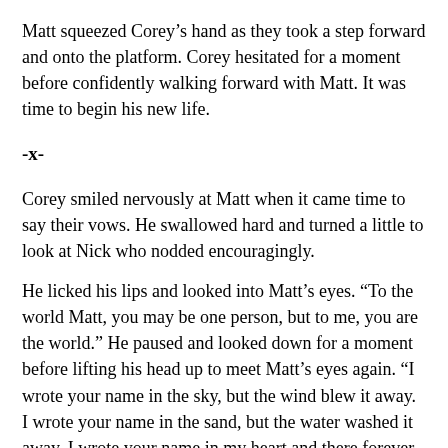Matt squeezed Corey's hand as they took a step forward and onto the platform. Corey hesitated for a moment before confidently walking forward with Matt. It was time to begin his new life.
-x-
Corey smiled nervously at Matt when it came time to say their vows. He swallowed hard and turned a little to look at Nick who nodded encouragingly.
He licked his lips and looked into Matt’s eyes. “To the world Matt, you may be one person, but to me, you are the world.” He paused and looked down for a moment before lifting his head up to meet Matt’s eyes again. “I wrote your name in the sky, but the wind blew it away. I wrote your name in the sand, but the water washed it away. I wrote your name in my heart and there forever it will stay.”
Nick ate into the way and they would be a way from the